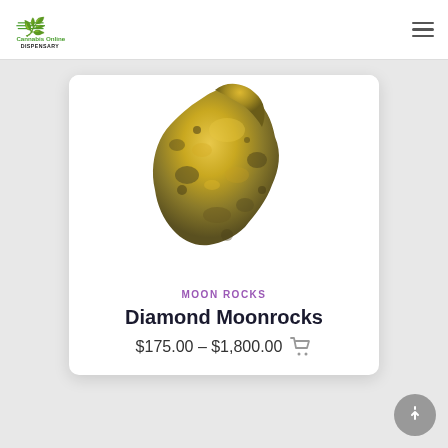Cannabis Online Dispensary
[Figure (photo): A golden-yellow cannabis moon rock product photo on white background]
MOON ROCKS
Diamond Moonrocks
$175.00 – $1,800.00